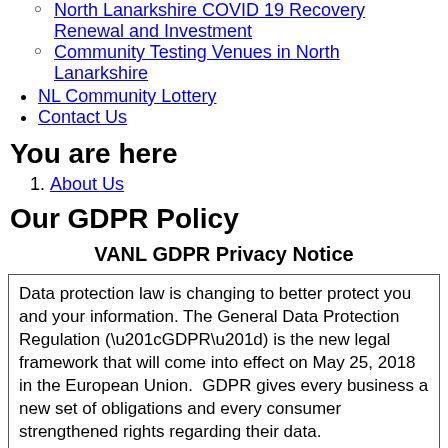North Lanarkshire COVID 19 Recovery Renewal and Investment
Community Testing Venues in North Lanarkshire
NL Community Lottery
Contact Us
You are here
About Us
Our GDPR Policy
VANL GDPR Privacy Notice
Data protection law is changing to better protect you and your information. The General Data Protection Regulation (“GDPR”) is the new legal framework that will come into effect on May 25, 2018 in the European Union.  GDPR gives every business a new set of obligations and every consumer strengthened rights regarding their data.